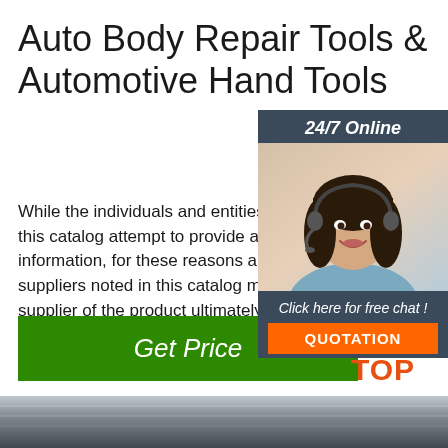Auto Body Repair Tools & Automotive Hand Tools
[Figure (illustration): Customer service representative woman with headset, 24/7 Online sidebar panel with chat and quotation button]
While the individuals and entities responsible for this catalog attempt to provide accurate information, for these reasons and others, suppliers noted in this catalog may not be the supplier of the product ultimately sold by Auto Parts stores or distributors of NAPA products. Items per Page: 12. 24.
Get Price
[Figure (logo): TOP logo with orange dots and orange text]